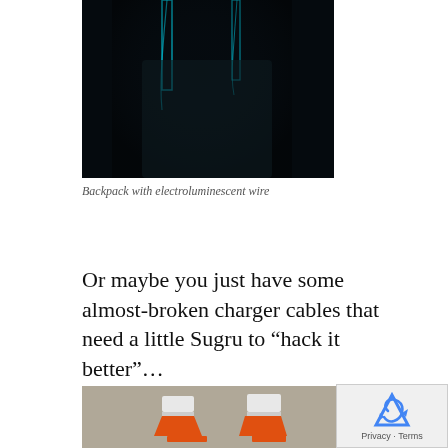[Figure (photo): Dark backpack with glowing electroluminescent wire, shown in low-light setting]
Backpack with electroluminescent wire
Or maybe you just have some almost-broken charger cables that need a little Sugru to “hack it better”…
[Figure (photo): Two charger cables with orange and blue Sugru rubber reinfocement near the connector ends, placed on a grey carpet]